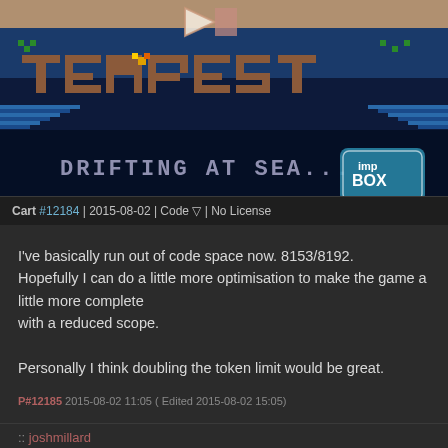[Figure (screenshot): Screenshot of a game called TEMPEST with pixel art style, showing 'DRIFTING AT SEA...' text and an imp BOX logo, with a play button overlay at the top.]
Cart #12184 | 2015-08-02 | Code ▽ | No License
I've basically run out of code space now. 8153/8192.
Hopefully I can do a little more optimisation to make the game a little more complete
with a reduced scope.

Personally I think doubling the token limit would be great.
P#12185 2015-08-02 11:05 ( Edited 2015-08-02 15:05)
:: joshmillard